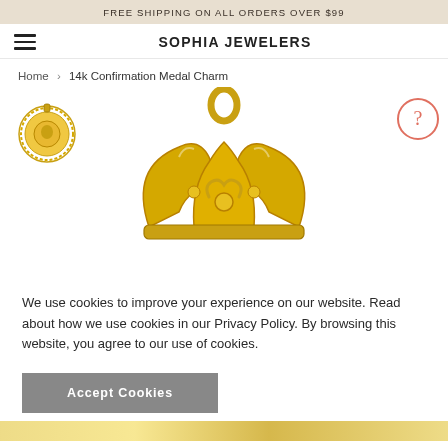FREE SHIPPING ON ALL ORDERS OVER $99
SOPHIA JEWELERS
Home > 14k Confirmation Medal Charm
[Figure (photo): Small round gold confirmation medal charm thumbnail on left; large gold crown/tiara-style confirmation medal charm in center; circular help icon with question mark on right]
We use cookies to improve your experience on our website. Read about how we use cookies in our Privacy Policy. By browsing this website, you agree to our use of cookies.
Accept Cookies
[Figure (photo): Partial bottom strip showing gold jewelry product]